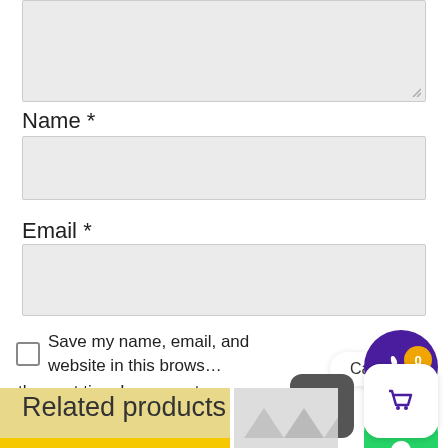[Figure (screenshot): Grey textarea input box at the top of the form]
Name *
[Figure (screenshot): Grey text input box for Name field]
Email *
[Figure (screenshot): Grey text input box for Email field]
Save my name, email, and website in this browser for the next time I comment.
[Figure (screenshot): Submit button (purple), Call Us bubble, phone icon circle, WhatsApp button, cart badge, up-arrow button, cart button]
Related products
[Figure (photo): Two partial product image thumbnails at the bottom]